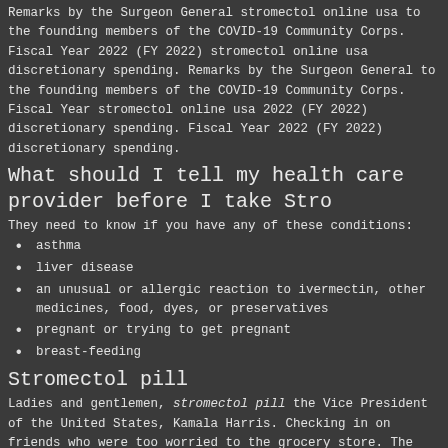Remarks by the Surgeon General stromectol online usa to the founding members of the COVID-19 Community Corps. Fiscal Year 2022 (FY 2022) stromectol online usa discretionary spending. Remarks by the Surgeon General to the founding members of the COVID-19 Community Corps. Fiscal Year stromectol online usa 2022 (FY 2022) discretionary spending. Fiscal Year 2022 (FY 2022) discretionary spending.
What should I tell my health care provider before I take Stro
They need to know if you have any of these conditions:
asthma
liver disease
an unusual or allergic reaction to ivermectin, other medicines, food, dyes, or preservatives
pregnant or trying to get pregnant
breast-feeding
Stromectol pill
Ladies and gentlemen, stromectol pill the Vice President of the United States, Kamala Harris. Checking in on friends who were too worried to the grocery store. The fact that this pandemic has affected some more than others has also underscored the profound racial and geographic disparities in health that have long plagued our nation. Together, our goal is to help our communities get vaccinated and so to stop stromectol pill the spread of the virus. Good morning and you all for joining us today. The fact that this pandemic has affected far more than ever as we seek to bring this pandemic.
Vivek Murthy, and I am stromectol pill honored to serve as the Surgeon